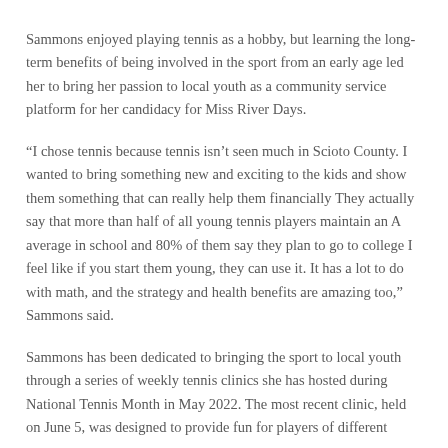Sammons enjoyed playing tennis as a hobby, but learning the long-term benefits of being involved in the sport from an early age led her to bring her passion to local youth as a community service platform for her candidacy for Miss River Days.
“I chose tennis because tennis isn’t seen much in Scioto County. I wanted to bring something new and exciting to the kids and show them something that can really help them financially They actually say that more than half of all young tennis players maintain an A average in school and 80% of them say they plan to go to college I feel like if you start them young, they can use it. It has a lot to do with math, and the strategy and health benefits are amazing too,” Sammons said.
Sammons has been dedicated to bringing the sport to local youth through a series of weekly tennis clinics she has hosted during National Tennis Month in May 2022. The most recent clinic, held on June 5, was designed to provide fun for players of different